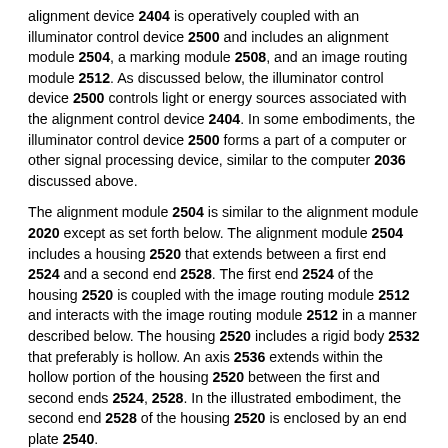alignment device 2404 is operatively coupled with an illuminator control device 2500 and includes an alignment module 2504, a marking module 2508, and an image routing module 2512. As discussed below, the illuminator control device 2500 controls light or energy sources associated with the alignment control device 2404. In some embodiments, the illuminator control device 2500 forms a part of a computer or other signal processing device, similar to the computer 2036 discussed above.
The alignment module 2504 is similar to the alignment module 2020 except as set forth below. The alignment module 2504 includes a housing 2520 that extends between a first end 2524 and a second end 2528. The first end 2524 of the housing 2520 is coupled with the image routing module 2512 and interacts with the image routing module 2512 in a manner described below. The housing 2520 includes a rigid body 2532 that preferably is hollow. An axis 2536 extends within the hollow portion of the housing 2520 between the first and second ends 2524, 2528. In the illustrated embodiment, the second end 2528 of the housing 2520 is enclosed by an end plate 2540.
The housing 2520 is configured to protect a variety of components that are positioned in the hollow spaced defined therein. In one embodiment, a target illuminator 2560 is positioned inside the housing 2520 near the second end 2528 thereof. A power cable 2564 (or other electrical